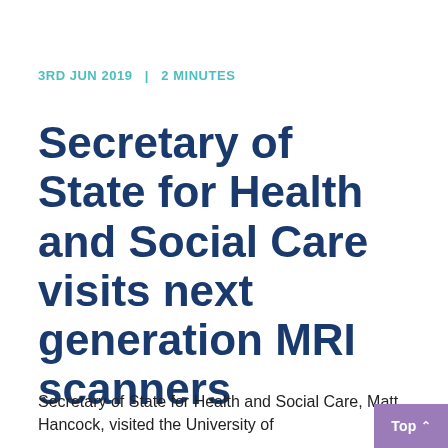3RD JUN 2019   |   2 MINUTES
Secretary of State for Health and Social Care visits next generation MRI scanners
Secretary of State for Health and Social Care, Matt Hancock, visited the University of